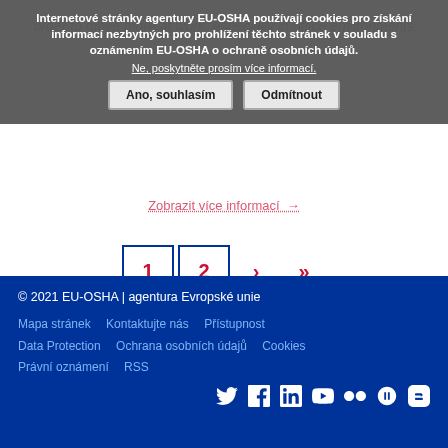...order to move more at work, especially in office environments...
Internetové stránky agentury EU-OSHA používají cookies pro získání informací nezbytných pro prohlížení těchto stránek v souladu s oznámením EU-OSHA o ochraně osobních údajů.
Ne, poskytněte prosím více informací.
Zobrazit více informací →
Ano, souhlasím   Odmítnout
1   2   ›   »
© 2021 EU-OSHA | agentura Evropské unie
Mapa stránek   Kontaktujte nás   Přístupnost
Data Protection   Ochrana osobních údajů   Cookies
Právní oznámení   RSS